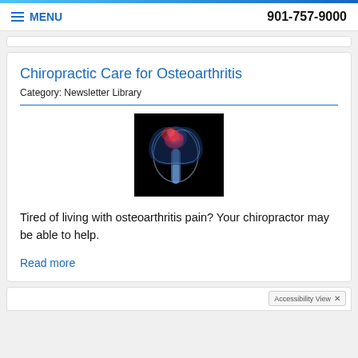MENU  901-757-9000
Chiropractic Care for Osteoarthritis
Category: Newsletter Library
[Figure (photo): X-ray image of a hip joint with inflammation highlighted in red/pink on a black background]
Tired of living with osteoarthritis pain? Your chiropractor may be able to help.
Read more